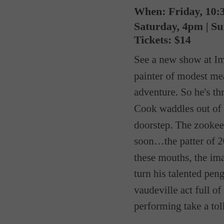When: Friday, 10:30am | Saturday, 4pm | Sunday 1:30pm
Tickets: $14
See a new show at Imagination Stage!  Mr. Popper, a painter of modest means, dreams of taking an Antarctic adventure. So he’s thrilled when a penguin named Captain Cook waddles out of a mysterious box left on his doorstep. The zookeeper donates a female companion and soon…the patter of 20 baby penguin feet! To feed all of these mouths, the imaginative Mr. Popper and his wife turn his talented penguins into a must-see traveling vaudeville act full of song and dance. But the rigors of performing take a toll on them all, and they must